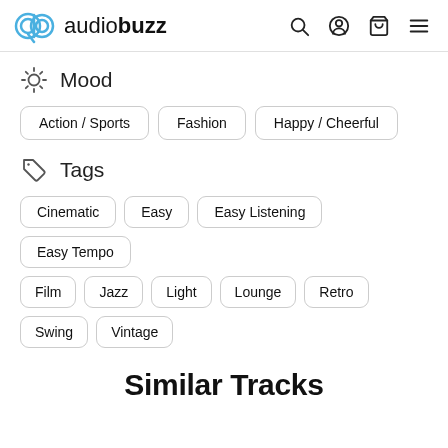audiobuzz
Mood
Action / Sports
Fashion
Happy / Cheerful
Tags
Cinematic
Easy
Easy Listening
Easy Tempo
Film
Jazz
Light
Lounge
Retro
Swing
Vintage
Similar Tracks